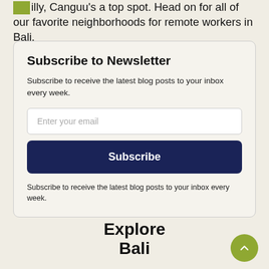illy, Canguu's a top spot. Head on for all of our favorite neighborhoods for remote workers in Bali.
Subscribe to Newsletter
Subscribe to receive the latest blog posts to your inbox every week.
Enter your email
Subscribe
Subscribe to receive the latest blog posts to your inbox every week.
Explore Bali